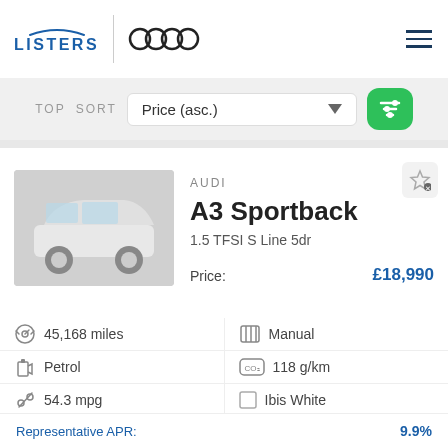[Figure (logo): Listers car dealership logo with arc above text]
[Figure (logo): Audi four rings logo]
TOP  SORT  Price (asc.)
AUDI
A3 Sportback
1.5 TFSI S Line 5dr
Price:  £18,990
45,168 miles
Manual
Petrol
118 g/km
54.3 mpg
Ibis White
2018 '18'
Solihull
Representative APR:  9.9%